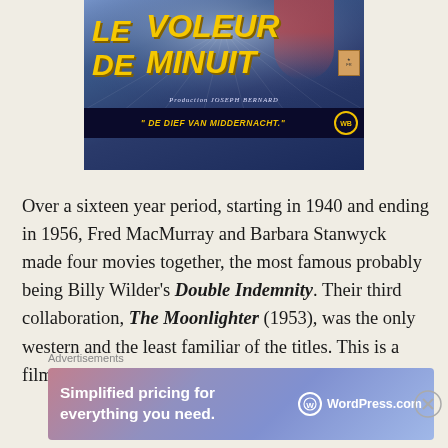[Figure (photo): Movie poster for 'Le Voleur de Minuit' (The Midnight Thief), a Warner Bros. film, with text 'DE DIEF VAN MIDDERNACHT' and 'Production JOSEPH BERNARD']
Over a sixteen year period, starting in 1940 and ending in 1956, Fred MacMurray and Barbara Stanwyck made four movies together, the most famous probably being Billy Wilder's Double Indemnity. Their third collaboration, The Moonlighter (1953), was the only western and the least familiar of the titles. This is a film
Advertisements
[Figure (screenshot): WordPress.com advertisement banner: 'Simplified pricing for everything you need.' with WordPress.com logo]